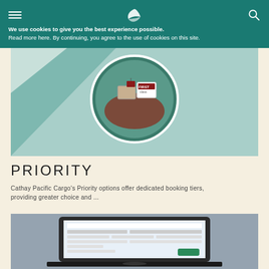We use cookies to give you the best experience possible. Read more here. By continuing, you agree to the use of cookies on this site.
[Figure (illustration): Illustrated view of airplane cargo hold with a red-tagged 'FIRST' priority box and luggage items, seen through a circular window/hatch from above]
PRIORITY
Cathay Pacific Cargo's Priority options offer dedicated booking tiers, providing greater choice and ...
[Figure (screenshot): Laptop screen showing a Cathay Pacific Cargo booking or management interface with form fields and data]